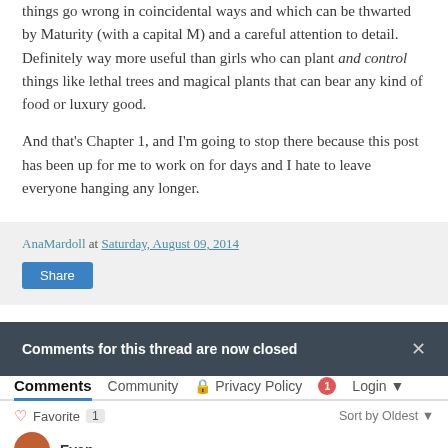things go wrong in coincidental ways and which can be thwarted by Maturity (with a capital M) and a careful attention to detail. Definitely way more useful than girls who can plant and control things like lethal trees and magical plants that can bear any kind of food or luxury good.
And that's Chapter 1, and I'm going to stop there because this post has been up for me to work on for days and I hate to leave everyone hanging any longer.
AnaMardoll at Saturday, August 09, 2014
Share
Comments for this thread are now closed
Comments  Community  Privacy Policy  1  Login
Favorite 1  Sort by Oldest
Evan